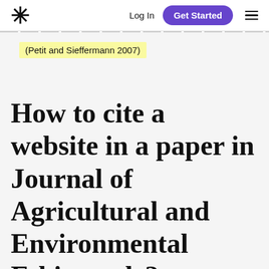* Log In Get Started ≡
(Petit and Sieffermann 2007)
How to cite a website in a paper in Journal of Agricultural and Environmental Ethics style?